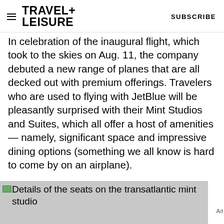TRAVEL+ LEISURE  SUBSCRIBE
In celebration of the inaugural flight, which took to the skies on Aug. 11, the company debuted a new range of planes that are all decked out with premium offerings. Travelers who are used to flying with JetBlue will be pleasantly surprised with their Mint Studios and Suites, which all offer a host of amenities — namely, significant space and impressive dining options (something we all know is hard to come by on an airplane).
Details of the seats on the transatlantic mint studio